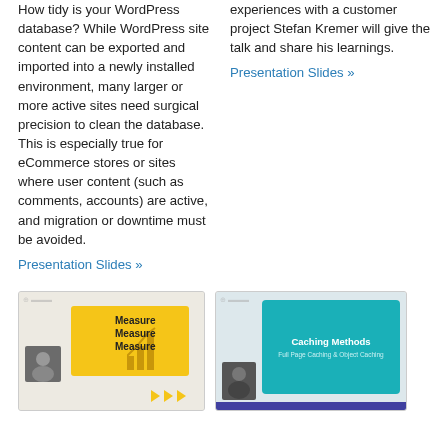How tidy is your WordPress database? While WordPress site content can be exported and imported into a newly installed environment, many larger or more active sites need surgical precision to clean the database. This is especially true for eCommerce stores or sites where user content (such as comments, accounts) are active, and migration or downtime must be avoided.
Presentation Slides »
experiences with a customer project Stefan Kremer will give the talk and share his learnings.
Presentation Slides »
[Figure (screenshot): Presentation slide thumbnail showing 'Measure Measure Measure' with a bar chart icon on a yellow background, a person photo, and orange play button arrows.]
[Figure (screenshot): Presentation slide thumbnail showing 'Caching Methods - Full Page Caching & Object Caching' on a teal/blue background, with a person photo on the left.]